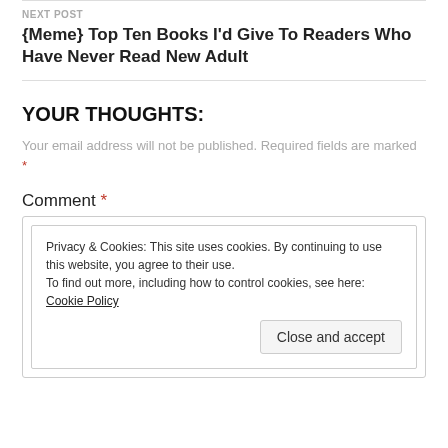NEXT POST
{Meme} Top Ten Books I'd Give To Readers Who Have Never Read New Adult
YOUR THOUGHTS:
Your email address will not be published. Required fields are marked *
Comment *
Privacy & Cookies: This site uses cookies. By continuing to use this website, you agree to their use. To find out more, including how to control cookies, see here: Cookie Policy
Close and accept